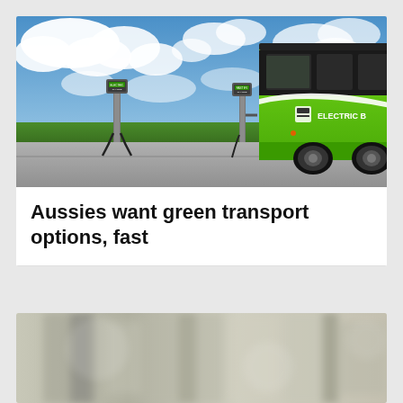[Figure (photo): A green electric bus parked at an EV charging station with two charging poles. Blue sky with white clouds in the background, green grass strip visible. The bus has a white swoosh logo and text reading 'ELECTRIC B' visible on its side.]
Aussies want green transport options, fast
[Figure (photo): A blurred outdoor scene with bokeh effect showing what appears to be a stone or brick architectural element, muted beige and grey tones.]